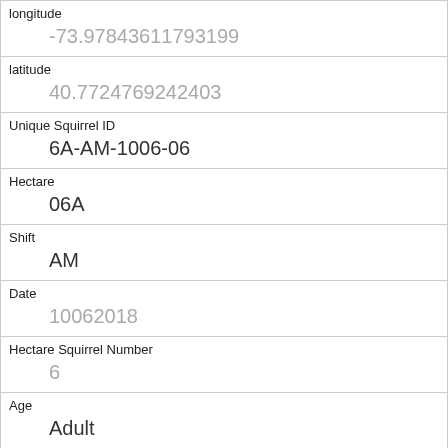| longitude | -73.97843611793199 |
| latitude | 40.7724769242403 |
| Unique Squirrel ID | 6A-AM-1006-06 |
| Hectare | 06A |
| Shift | AM |
| Date | 10062018 |
| Hectare Squirrel Number | 6 |
| Age | Adult |
| Primary Fur Color | Gray |
| Highlight Fur Color | Cinnamon, White |